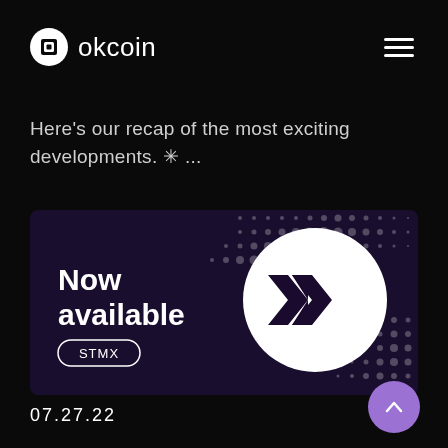okcoin
Here's our recap of the most exciting developments. ✳️ ...
[Figure (illustration): Promotional banner with dark purple background and halftone dot pattern. Left side shows bold white text 'Now available' with a pill-shaped badge reading 'STMX'. Right side features a large white circle containing a black stylized X/arrow logo (StormX brand mark).]
07.27.22